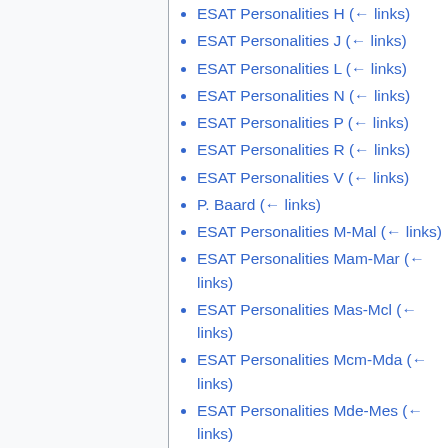ESAT Personalities H  (← links)
ESAT Personalities J  (← links)
ESAT Personalities L  (← links)
ESAT Personalities N  (← links)
ESAT Personalities P  (← links)
ESAT Personalities R  (← links)
ESAT Personalities V  (← links)
P. Baard  (← links)
ESAT Personalities M-Mal  (← links)
ESAT Personalities Mam-Mar  (← links)
ESAT Personalities Mas-Mcl  (← links)
ESAT Personalities Mcm-Mda  (← links)
ESAT Personalities Mde-Mes  (← links)
ESAT Personalities Met-Miz  (← links)